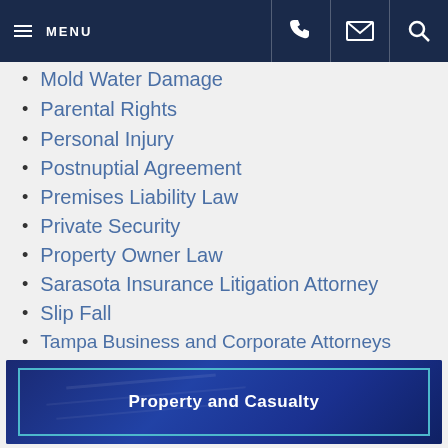MENU [phone] [email] [search]
Mold Water Damage
Parental Rights
Personal Injury
Postnuptial Agreement
Premises Liability Law
Private Security
Property Owner Law
Sarasota Insurance Litigation Attorney
Slip Fall
Tampa Business and Corporate Attorneys
tampa family attorney
Timeshare
[Figure (photo): Dark blue banner with teal border outline and bold white text reading 'Property and Casualty', background shows a blurred image of hands on documents]